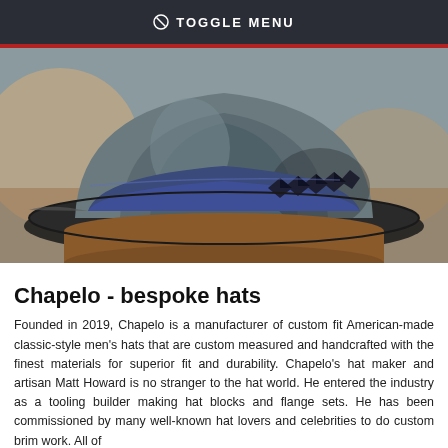TOGGLE MENU
[Figure (photo): Close-up photograph of a grey felt fedora-style hat with a dark navy band featuring embossed geometric diamond/arrow patterns, resting on a wooden hat block.]
Chapelo - bespoke hats
Founded in 2019, Chapelo is a manufacturer of custom fit American-made classic-style men’s hats that are custom measured and handcrafted with the finest materials for superior fit and durability. Chapelo’s hat maker and artisan Matt Howard is no stranger to the hat world. He entered the industry as a tooling builder making hat blocks and flange sets. He has been commissioned by many well-known hat lovers and celebrities to do custom brim work. All of